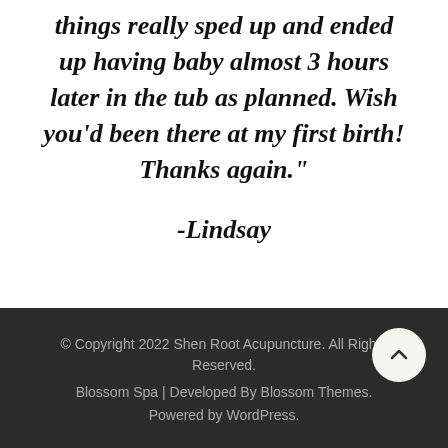things really sped up and ended up having baby almost 3 hours later in the tub as planned. Wish you'd been there at my first birth! Thanks again."
-Lindsay
© Copyright 2022 Shen Root Acupuncture. All Rights Reserved. Blossom Spa | Developed By Blossom Themes. Powered by WordPress.